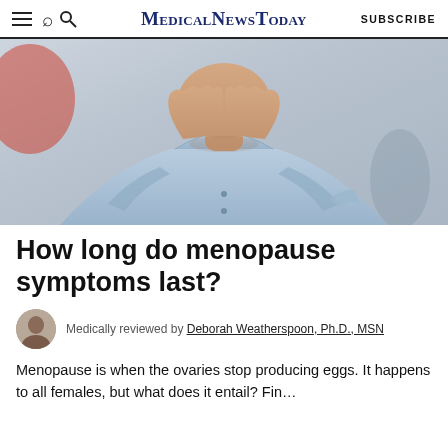MedicalNewsToday  SUBSCRIBE
[Figure (photo): A person in a light blue shirt holding their hands up to their neck/throat area, photographed from the chin down, with a blurred background.]
How long do menopause symptoms last?
Medically reviewed by Deborah Weatherspoon, Ph.D., MSN
Menopause is when the ovaries stop producing eggs. It happens to all females, but what does it entail? Fin…